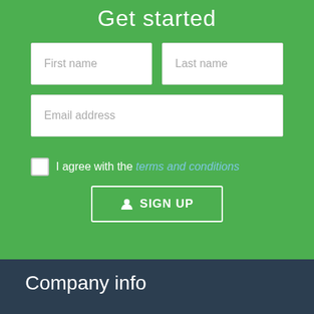Get started
First name
Last name
Email address
I agree with the terms and conditions
SIGN UP
Company info